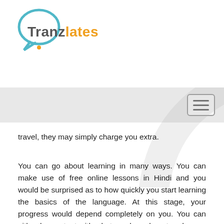[Figure (logo): Tranzlates logo with speech bubble icon, 'Tranz' in gray and 'lates' in orange]
travel, they may simply charge you extra.
You can go about learning in many ways. You can make use of free online lessons in Hindi and you would be surprised as to how quickly you start learning the basics of the language. At this stage, your progress would depend completely on you. You can either be content with what you have learnt and use a few words you may have managed to learn or you may choose to go the whole nine yards.
If you decide to choose the latter, Punjabi Hindi Online would be happy to help. We have experienced, native Hindi tutors who have taught at all levels right from elementary to advanced. Our tutors have also taught at college level and are well versed with all aspects of the language be it spoken, written, academic or related